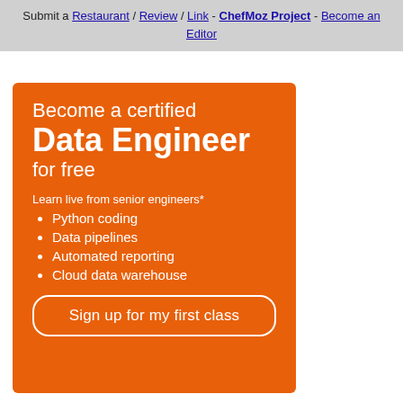Submit a Restaurant / Review / Link - ChefMoz Project - Become an Editor
[Figure (infographic): Orange advertisement banner for a Data Engineer certification course. Contains heading 'Become a certified Data Engineer for free', subtext 'Learn live from senior engineers*', bullet points listing Python coding, Data pipelines, Automated reporting, Cloud data warehouse, and a 'Sign up for my first class' button.]